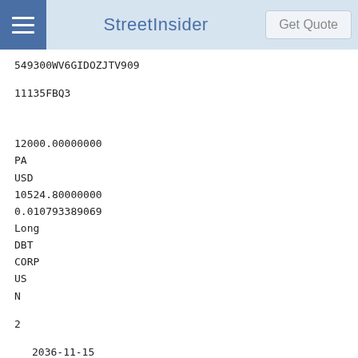StreetInsider | Get Quote
549300WV6GIDOZJTV909
11135FBQ3
12000.00000000
PA
USD
10524.80000000
0.010793389069
Long
DBT
CORP
US
N
2
2036-11-15
Fixed
3.18700000
N